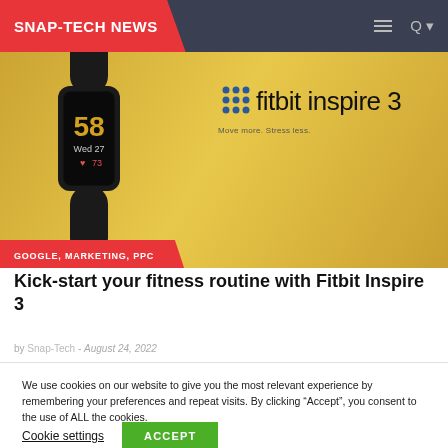SNAP-TECH NEWS
[Figure (photo): Fitbit Inspire 3 fitness tracker shown against gold background with text 'fitbit inspire 3, Move more. Stress less.']
GOOGLE, MARKETING, PPC
Kick-start your fitness routine with Fitbit Inspire 3
by Snap-Tech - August 24, 2022
We use cookies on our website to give you the most relevant experience by remembering your preferences and repeat visits. By clicking “Accept”, you consent to the use of ALL the cookies.
Cookie settings   ACCEPT